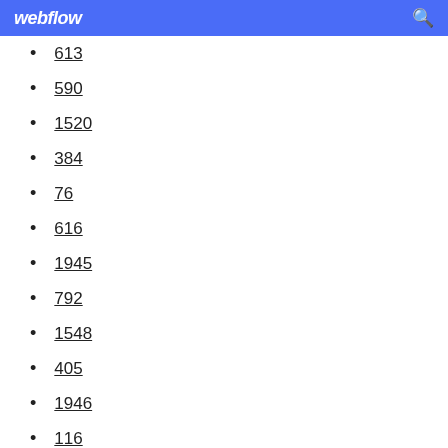webflow
613
590
1520
384
76
616
1945
792
1548
405
1946
116
1153